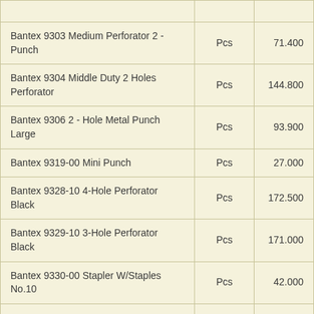|  |  |  |
| --- | --- | --- |
| Bantex 9303 Medium Perforator 2 - Punch | Pcs | 71.400 |
| Bantex 9304 Middle Duty 2 Holes Perforator | Pcs | 144.800 |
| Bantex 9306 2 - Hole Metal Punch Large | Pcs | 93.900 |
| Bantex 9319-00 Mini Punch | Pcs | 27.000 |
| Bantex 9328-10 4-Hole Perforator Black | Pcs | 172.500 |
| Bantex 9329-10 3-Hole Perforator Black | Pcs | 171.000 |
| Bantex 9330-00 Stapler W/Staples No.10 | Pcs | 42.000 |